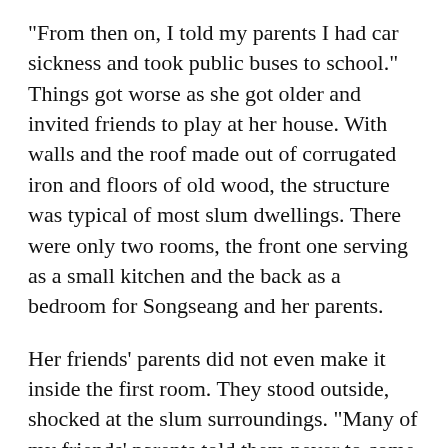"From then on, I told my parents I had car sickness and took public buses to school." Things got worse as she got older and invited friends to play at her house. With walls and the roof made out of corrugated iron and floors of old wood, the structure was typical of most slum dwellings. There were only two rooms, the front one serving as a small kitchen and the back as a bedroom for Songseang and her parents.
Her friends' parents did not even make it inside the first room. They stood outside, shocked at the slum surroundings. "Many of my friends' parents told them never to come visit me ever again, and to even stop being my friend. Of course, there were also people who encouraged me, but many decided to cut me off because of my social standing."
From then on, Songseang learned that there were...